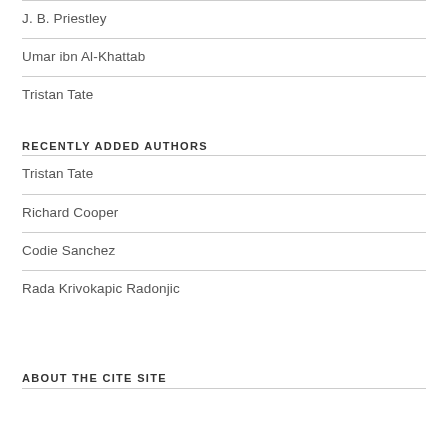J. B. Priestley
Umar ibn Al-Khattab
Tristan Tate
RECENTLY ADDED AUTHORS
Tristan Tate
Richard Cooper
Codie Sanchez
Rada Krivokapic Radonjic
ABOUT THE CITE SITE